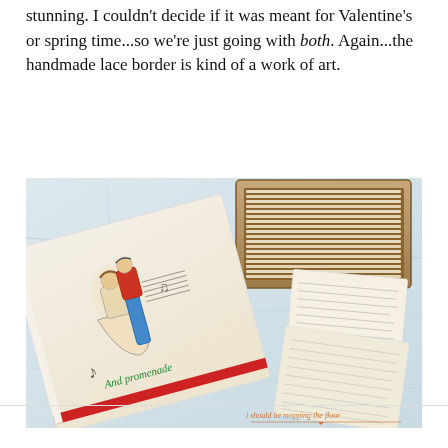stunning. I couldn't decide if it was meant for Valentine's or spring time...so we're just going with both. Again...the handmade lace border is kind of a work of art.
[Figure (photo): A photograph showing a vintage embroidered tea towel with dancing couple and 'And promenade' text in green script, red trim border, alongside a wooden box full of old letter cards and handwritten note cards scattered on a marble surface. Watermark reads 'i should be mopping the floor' with an arrow.]